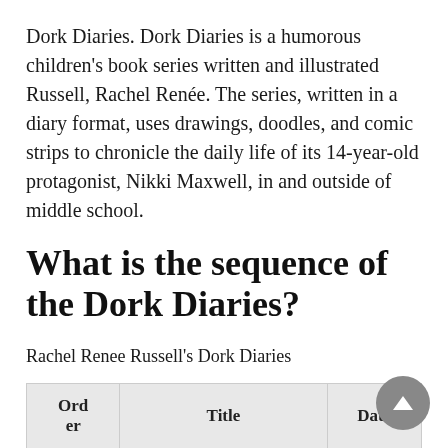Dork Diaries. Dork Diaries is a humorous children's book series written and illustrated Russell, Rachel Renée. The series, written in a diary format, uses drawings, doodles, and comic strips to chronicle the daily life of its 14-year-old protagonist, Nikki Maxwell, in and outside of middle school.
What is the sequence of the Dork Diaries?
Rachel Renee Russell's Dork Diaries
| Order | Title | Date |
| --- | --- | --- |